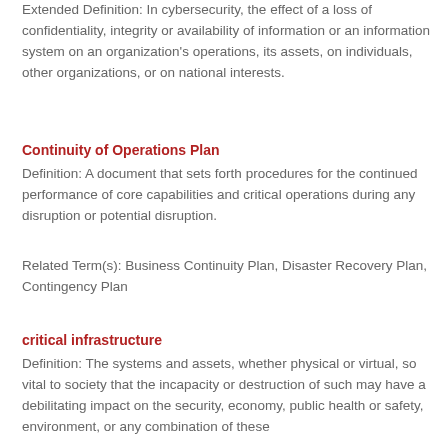Extended Definition: In cybersecurity, the effect of a loss of confidentiality, integrity or availability of information or an information system on an organization's operations, its assets, on individuals, other organizations, or on national interests.
Continuity of Operations Plan
Definition: A document that sets forth procedures for the continued performance of core capabilities and critical operations during any disruption or potential disruption.
Related Term(s): Business Continuity Plan, Disaster Recovery Plan, Contingency Plan
critical infrastructure
Definition: The systems and assets, whether physical or virtual, so vital to society that the incapacity or destruction of such may have a debilitating impact on the security, economy, public health or safety, environment, or any combination of these